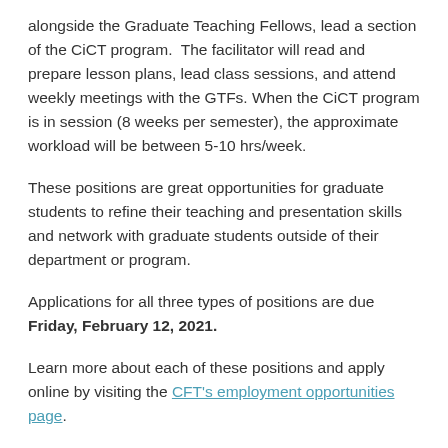alongside the Graduate Teaching Fellows, lead a section of the CiCT program.  The facilitator will read and prepare lesson plans, lead class sessions, and attend weekly meetings with the GTFs. When the CiCT program is in session (8 weeks per semester), the approximate workload will be between 5-10 hrs/week.
These positions are great opportunities for graduate students to refine their teaching and presentation skills and network with graduate students outside of their department or program.
Applications for all three types of positions are due Friday, February 12, 2021.
Learn more about each of these positions and apply online by visiting the CFT's employment opportunities page.
Tags: CiCT, GTF, gtf/ta positions